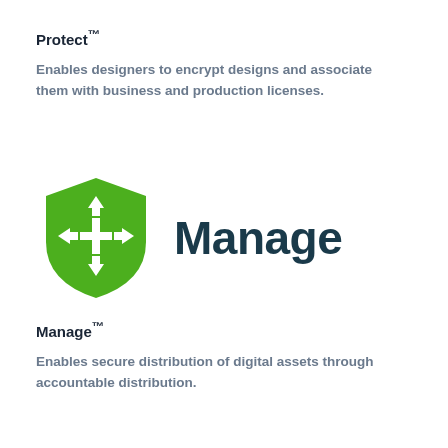Protect™
Enables designers to encrypt designs and associate them with business and production licenses.
[Figure (logo): Manage logo: green shield icon with four-directional arrows and the word 'Manage' in dark teal bold text]
Manage™
Enables secure distribution of digital assets through accountable distribution.